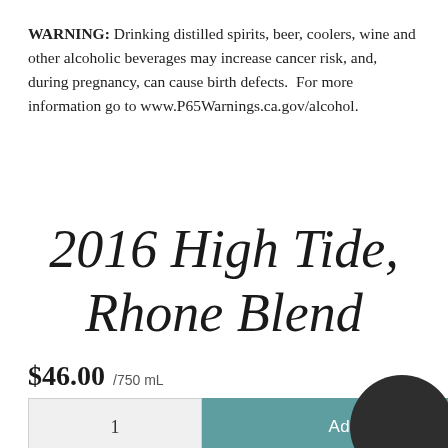WARNING: Drinking distilled spirits, beer, coolers, wine and other alcoholic beverages may increase cancer risk, and, during pregnancy, can cause birth defects.  For more information go to www.P65Warnings.ca.gov/alcohol.
2016 High Tide, Rhone Blend
$46.00 /750 mL
1   Add To Cart